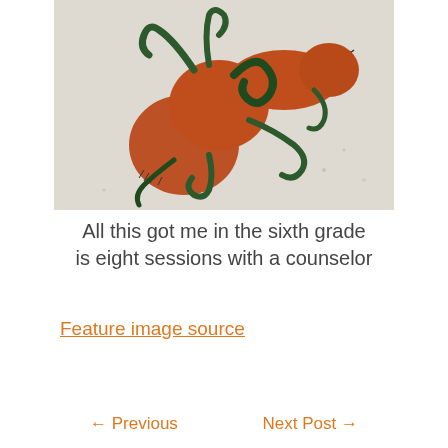[Figure (illustration): Ancient or folk-art style painting on a light stone/plaster background. The image shows a reddish-brown octopus-like creature rendered in a naive style, with dark green/teal tentacles curling around forms. The style resembles prehistoric or ancient Minoan fresco art.]
All this got me in the sixth grade is eight sessions with a counselor
Feature image source
← Previous    Next Post →